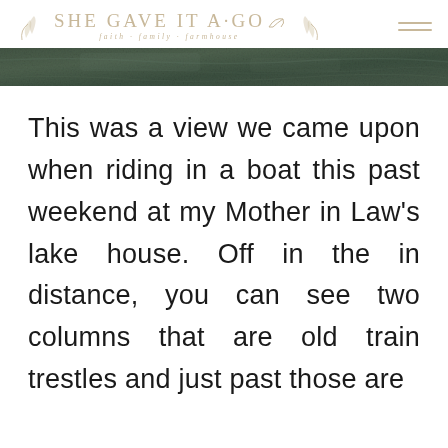SHE GAVE IT A GO · faith · family · farmhouse
[Figure (photo): Narrow banner image showing a lake or water scene with dark green/teal muted tones, likely a landscape photo taken from a boat.]
This was a view we came upon when riding in a boat this past weekend at my Mother in Law’s lake house. Off in the in distance, you can see two columns that are old train trestles and just past those are